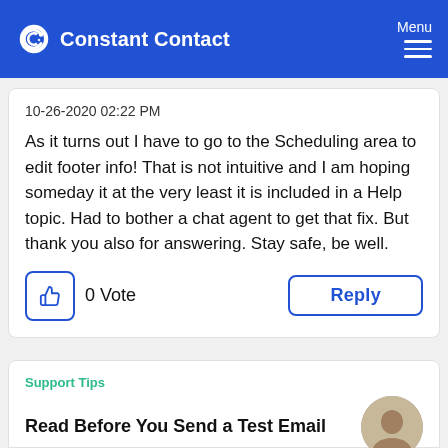Constant Contact | Menu
10-26-2020 02:22 PM
As it turns out I have to go to the Scheduling area to edit footer info! That is not intuitive and I am hoping someday it at the very least it is included in a Help topic. Had to bother a chat agent to get that fix. But thank you also for answering. Stay safe, be well.
0 Vote
Reply
Support Tips
Read Before You Send a Test Email